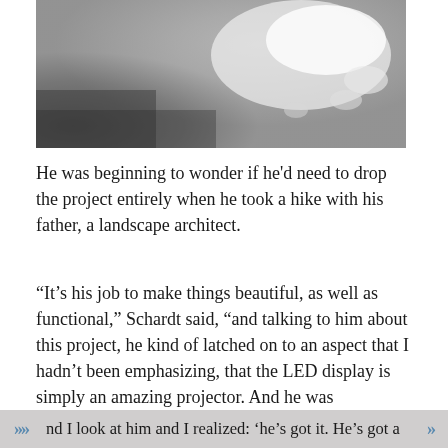[Figure (photo): A grayscale photograph showing a bright, hazy sky or bright light source with some darker blurred elements, likely an outdoor or atmospheric scene.]
He was beginning to wonder if he'd need to drop the project entirely when he took a hike with his father, a landscape architect.
“It’s his job to make things beautiful, as well as functional,” Schardt said, “and talking to him about this project, he kind of latched on to an aspect that I hadn’t been emphasizing, that the LED display is simply an amazing projector. And he was particularly thrilled with the idea of showing the cosmos: Hubble photographs, the aurora borealis, comets … and he looked up at the sky and said ‘You should show the entire firmament!’ . nd I look at him and I realized: ‘he’s got it. He’s got a
«  nd I look at him and I realized: ‘he’s got it. He’s got a  »